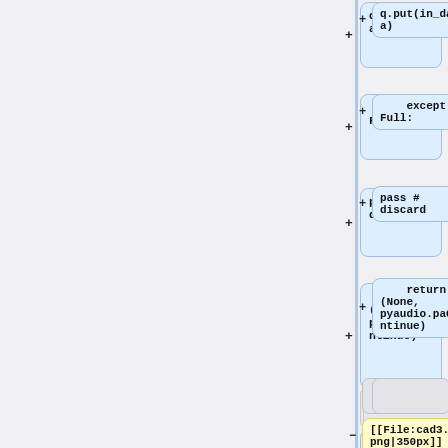[Figure (flowchart): A code flowchart showing Python code blocks connected in a diff view. Right column shows blue code blocks with '+' markers: 'q.put(in_data)', 'except Full:', 'pass # discard', 'return (None, pyaudio.paContinue)'. Bottom shows gray connector boxes, a yellow '-' block with '[[File:cad3.png|350px]]', and blue '+' blocks '# instantiate pyaudio' and 'audio ='.]